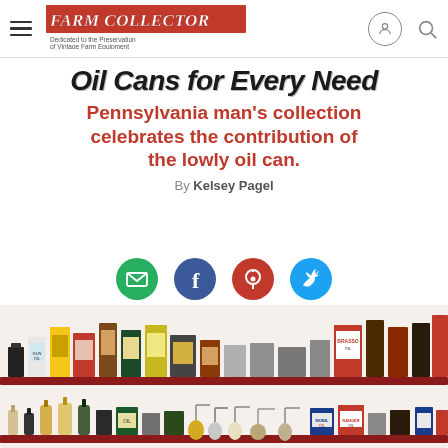Farm Collector — Dedicated to the Preservation of Vintage Farm Equipment
Oil Cans for Every Need
Pennsylvania man's collection celebrates the contribution of the lowly oil can.
By Kelsey Pagel
[Figure (infographic): Social sharing icons: email (green circle), Facebook (blue circle), Pinterest (red circle), Twitter (blue bird)]
[Figure (photo): Two shelves of vintage oil cans of various sizes, shapes, and brands displayed against a white wall. The top shelf shows tall upright cans with colorful labels; the bottom shelf shows smaller oil cans, glass bottles, and metal oilers.]